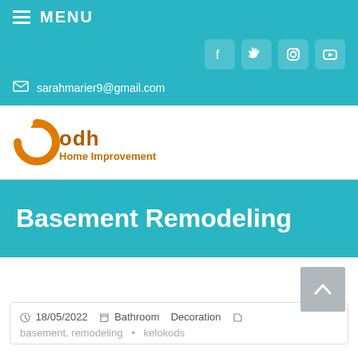MENU
sarahmarier9@gmail.com
[Figure (logo): ODH Home Improvement logo with orange circular arrow icon and orange text]
Basement Remodeling
18/05/2022  Bathroom  Decoration
basement, remodeling  •  kelokods